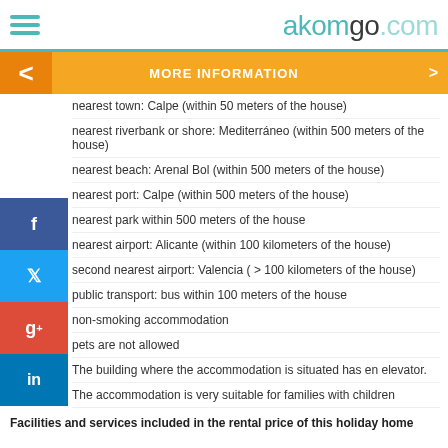akomgo.com
MORE INFORMATION
nearest town: Calpe (within 50 meters of the house)
nearest riverbank or shore: Mediterráneo (within 500 meters of the house)
nearest beach: Arenal Bol (within 500 meters of the house)
nearest port: Calpe (within 500 meters of the house)
nearest park within 500 meters of the house
nearest airport: Alicante (within 100 kilometers of the house)
second nearest airport: Valencia ( > 100 kilometers of the house)
public transport: bus within 100 meters of the house
non-smoking accommodation
pets are not allowed
The building where the accommodation is situated has en elevator.
The accommodation is very suitable for families with children
Facilities and services included in the rental price of this holiday home